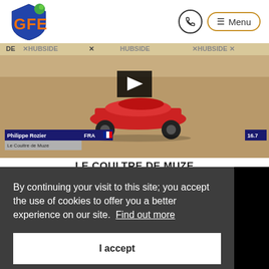[Figure (logo): GFE logo with blue shield shape and orange GFE text]
[Figure (screenshot): Video screenshot showing red car at Hubside event with Philippe Rozier FRA overlay and score 16.7]
LE COULTRE DE MUZE
By continuing your visit to this site; you accept the use of cookies to offer you a better experience on our site. Find out more
I accept